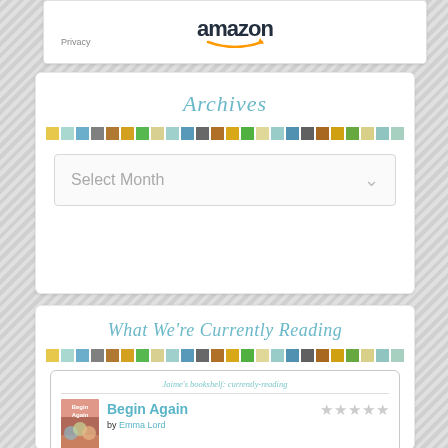[Figure (logo): Amazon logo with Privacy text below]
Archives
[Figure (infographic): Decorative color strip of small squares in yellow, teal, blue, gray, brown, green pattern]
Select Month
What We're Currently Reading
[Figure (infographic): Decorative color strip of small squares in yellow, teal, blue, gray, brown, green pattern]
Jaime's bookshelf: currently-reading
[Figure (illustration): Book cover for Begin Again]
Begin Again by Emma Lord with star rating